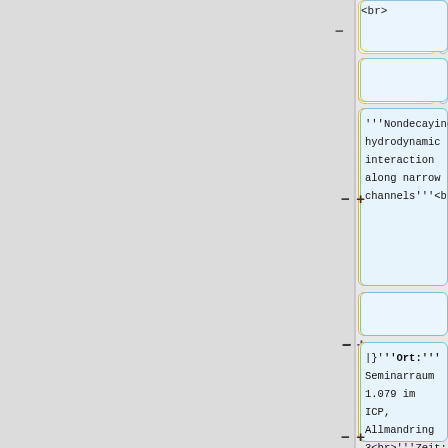<br>
Frau C. Vehlow, Dr. Liang Zhou (Universität Stuttgart, TP D.5)<br>
'''Nondecaying hydrodynamic interaction along narrow channels'''<br>
'''tba.'''<br>
|}'''Ort:'''Seminarraum 1.079 im ICP, Allmandring 3<br>'''Zeit:''' 11:30 Uhr<br>